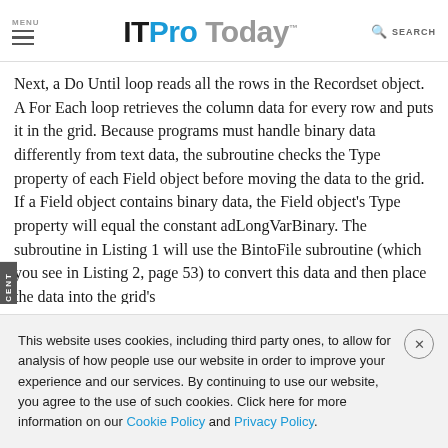MENU | ITProToday | SEARCH
Next, a Do Until loop reads all the rows in the Recordset object. A For Each loop retrieves the column data for every row and puts it in the grid. Because programs must handle binary data differently from text data, the subroutine checks the Type property of each Field object before moving the data to the grid. If a Field object contains binary data, the Field object's Type property will equal the constant adLongVarBinary. The subroutine in Listing 1 will use the BintoFile subroutine (which you see in Listing 2, page 53) to convert this data and then place the data into the grid's
This website uses cookies, including third party ones, to allow for analysis of how people use our website in order to improve your experience and our services. By continuing to use our website, you agree to the use of such cookies. Click here for more information on our Cookie Policy and Privacy Policy.